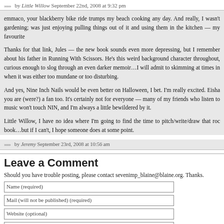»»» by Little Willow September 22nd, 2008 at 9:32 pm
emmaco, your blackberry bike ride trumps my beach cooking any day. And really, I wasn't gardening; was just enjoying pulling things out of it and using them in the kitchen — my favourite...
Thanks for that link, Jules — the new book sounds even more depressing, but I remember about his father in Running With Scissors. He's this weird background character throughout, curious enough to slog through an even darker memoir…I will admit to skimming at times in when it was either too mundane or too disturbing.
And yes, Nine Inch Nails would be even better on Halloween, I bet. I'm really excited. Eisha you are (were?) a fan too. It's certainly not for everyone — many of my friends who listen to music won't touch NIN, and I'm always a little bewildered by it.
Little Willow, I have no idea where I'm going to find the time to pitch/write/draw that roc book…but if I can't, I hope someone does at some point.
»»» by Jeremy September 23rd, 2008 at 10:56 am
Leave a Comment
Should you have trouble posting, please contact sevenimp_blaine@blaine.org. Thanks.
Name (required)
Mail (will not be published) (required)
Website (optional)